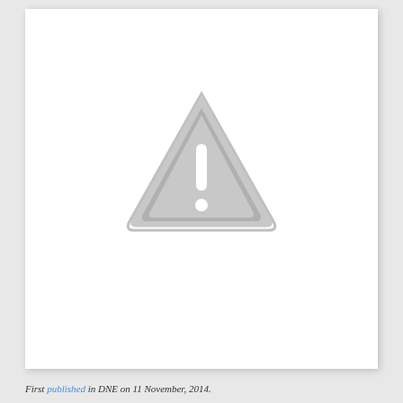[Figure (other): A warning/caution triangle icon with an exclamation mark inside, rendered in grey tones on a white background. The triangle has rounded corners and a double border outline.]
First published in DNE on 11 November, 2014.